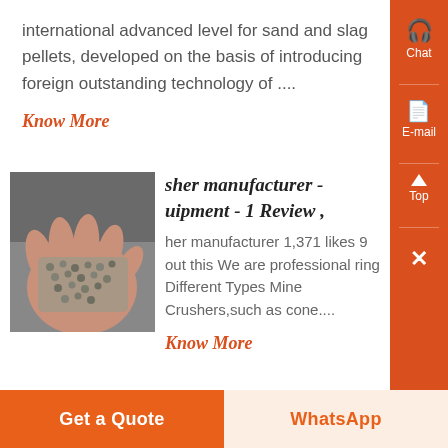international advanced level for sand and slag pellets, developed on the basis of introducing foreign outstanding technology of ....
Know More
[Figure (photo): A hand holding small gray granular pellets/gravel material]
her manufacturer - uipment - 1 Review ,
her manufacturer 1,371 likes 9 out this We are professional ring Different Types Mine Crushers,such as cone....
Know More